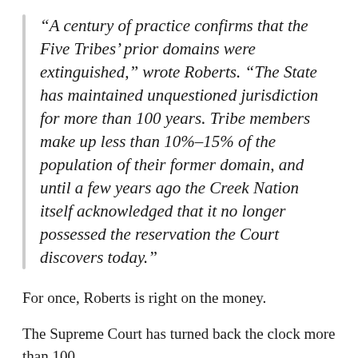“A century of practice confirms that the Five Tribes’ prior domains were extinguished,” wrote Roberts. “The State has maintained unquestioned jurisdiction for more than 100 years. Tribe members make up less than 10%–15% of the population of their former domain, and until a few years ago the Creek Nation itself acknowledged that it no longer possessed the reservation the Court discovers today.”
For once, Roberts is right on the money.
The Supreme Court has turned back the clock more than 100...